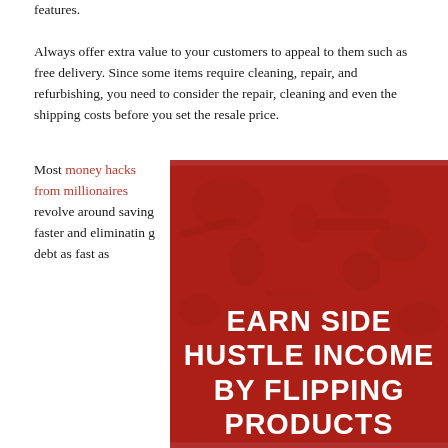features.
Always offer extra value to your customers to appeal to them such as free delivery. Since some items require cleaning, repair, and refurbishing, you need to consider the repair, cleaning and even the shipping costs before you set the resale price.
Most money hacks from millionaires revolve around saving faster and eliminating debt as fast as
[Figure (photo): Red-tinted image of a cluttered workshop/garage with tools and items, overlaid with bold white text reading EARN SIDE HUSTLE INCOME BY FLIPPING PRODUCTS]